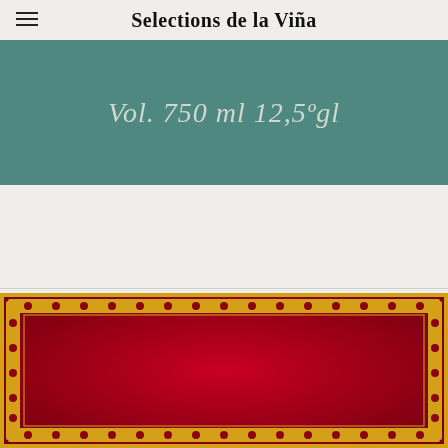Selections de la Viña
Vol. 750 ml 12,5ºgl
[Figure (illustration): Wine bottle label with ornate golden scroll border on dark red background]